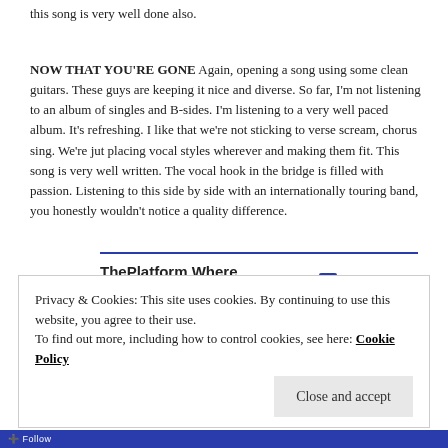this song is very well done also.
NOW THAT YOU'RE GONE Again, opening a song using some clean guitars. These guys are keeping it nice and diverse. So far, I'm not listening to an album of singles and B-sides. I'm listening to a very well paced album. It's refreshing. I like that we're not sticking to verse scream, chorus sing. We're jut placing vocal styles wherever and making them fit. This song is very well written. The vocal hook in the bridge is filled with passion. Listening to this side by side with an internationally touring band, you honestly wouldn't notice a quality difference.
[Figure (other): Advertisement banner: ThePlatform Where WordPress Works Best — Pressable logo]
REPORT THIS AD
LOW Here we go! Something for me to enjoy more than I should. Twiddly guitar riffs!
Privacy & Cookies: This site uses cookies. By continuing to use this website, you agree to their use.
To find out more, including how to control cookies, see here: Cookie Policy
Close and accept